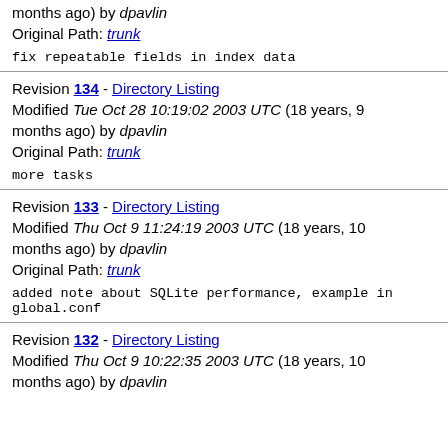months ago) by dpavlin
Original Path: trunk
fix repeatable fields in index data
Revision 134 - Directory Listing
Modified Tue Oct 28 10:19:02 2003 UTC (18 years, 9 months ago) by dpavlin
Original Path: trunk
more tasks
Revision 133 - Directory Listing
Modified Thu Oct 9 11:24:19 2003 UTC (18 years, 10 months ago) by dpavlin
Original Path: trunk
added note about SQLite performance, example in global.conf
Revision 132 - Directory Listing
Modified Thu Oct 9 10:22:35 2003 UTC (18 years, 10 months ago) by dpavlin